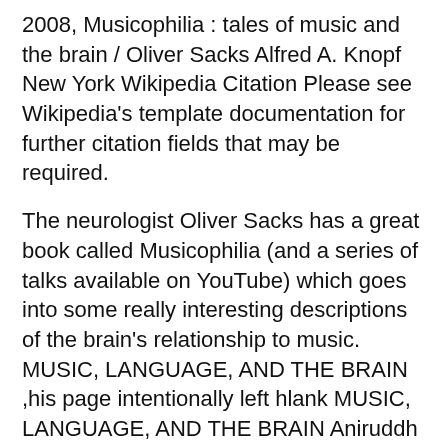2008, Musicophilia : tales of music and the brain / Oliver Sacks Alfred A. Knopf New York Wikipedia Citation Please see Wikipedia's template documentation for further citation fields that may be required.
The neurologist Oliver Sacks has a great book called Musicophilia (and a series of talks available on YouTube) which goes into some really interesting descriptions of the brain's relationship to music. MUSIC, LANGUAGE, AND THE BRAIN ,his page intentionally left hlank MUSIC, LANGUAGE, AND THE BRAIN Aniruddh D. Patel...
Musicophilia, or abnormal craving for